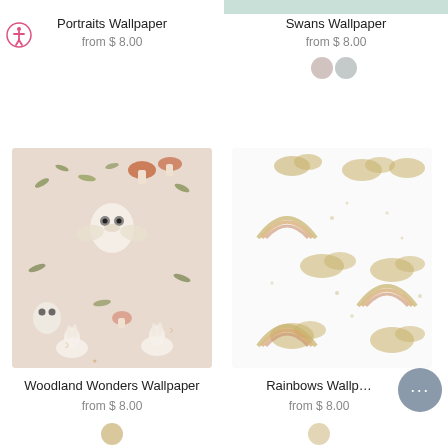[Figure (photo): Portraits Wallpaper product image (partially visible at top)]
Portraits Wallpaper
from $ 8.00
[Figure (photo): Swans Wallpaper product image (partially visible at top)]
Swans Wallpaper
from $ 8.00
[Figure (photo): Color swatches for Swans Wallpaper - two circular swatches in muted pink/grey tones]
[Figure (photo): Woodland Wonders Wallpaper product image - pink background with woodland creatures, mushrooms, rabbits, owls, foliage]
Woodland Wonders Wallpaper
from $ 8.00
[Figure (photo): Rainbows Wallpaper product image - white background with golden/beige rainbows and clouds pattern]
Rainbows Wallp…
from $ 8.00